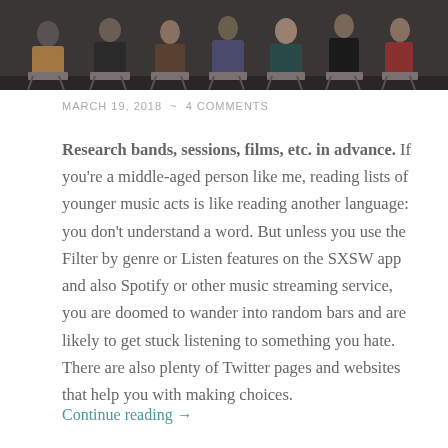[Figure (photo): A row of people seated in director-style chairs on a panel stage, cropped to show mostly their lower bodies and laps, with dark background.]
MARCH 19, 2018  ~  4 COMMENTS
Research bands, sessions, films, etc. in advance. If you're a middle-aged person like me, reading lists of younger music acts is like reading another language: you don't understand a word. But unless you use the Filter by genre or Listen features on the SXSW app and also Spotify or other music streaming service, you are doomed to wander into random bars and are likely to get stuck listening to something you hate. There are also plenty of Twitter pages and websites that help you with making choices.
Continue reading →